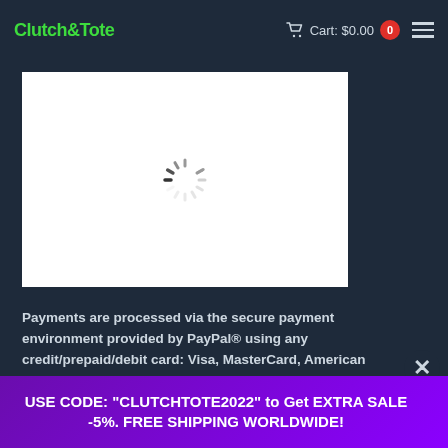Clutch & Tote | Cart: $0.00 | 0
[Figure (screenshot): White product image loading area with a spinning loader icon in the center]
Payments are processed via the secure payment environment provided by PayPal® using any credit/prepaid/debit card: Visa, MasterCard, American Express, Discover, JCB, Diner's Club and EnRoute.
USE CODE: "CLUTCHTOTE2022" to Get EXTRA SALE -5%. FREE SHIPPING WORLDWIDE!